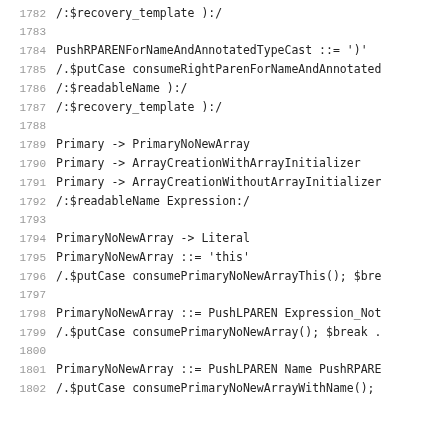1782  /:$recovery_template ):/
1783
1784  PushRPARENForNameAndAnnotatedTypeCast ::= ')'
1785  /.$putCase consumeRightParenForNameAndAnnotated
1786  /:$readableName ):/
1787  /:$recovery_template ):/
1788
1789  Primary -> PrimaryNoNewArray
1790  Primary -> ArrayCreationWithArrayInitializer
1791  Primary -> ArrayCreationWithoutArrayInitializer
1792  /:$readableName Expression:/
1793
1794  PrimaryNoNewArray -> Literal
1795  PrimaryNoNewArray ::= 'this'
1796  /.$putCase consumePrimaryNoNewArrayThis(); $bre
1797
1798  PrimaryNoNewArray ::= PushLPAREN Expression_Not
1799  /.$putCase consumePrimaryNoNewArray(); $break .
1800
1801  PrimaryNoNewArray ::= PushLPAREN Name PushRPARE
1802  /.$putCase consumePrimaryNoNewArrayWithName();